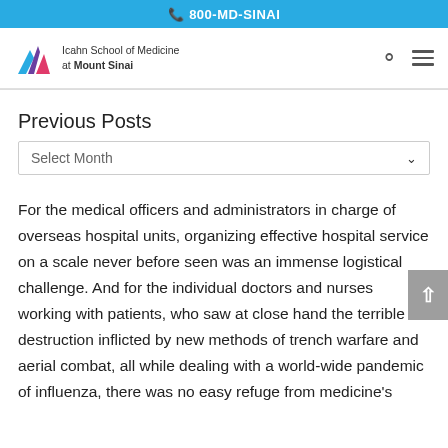800-MD-SINAI
[Figure (logo): Icahn School of Medicine at Mount Sinai logo with triangular mountain graphic]
Previous Posts
Select Month
For the medical officers and administrators in charge of overseas hospital units, organizing effective hospital service on a scale never before seen was an immense logistical challenge. And for the individual doctors and nurses working with patients, who saw at close hand the terrible destruction inflicted by new methods of trench warfare and aerial combat, all while dealing with a world-wide pandemic of influenza, there was no easy refuge from medicine's